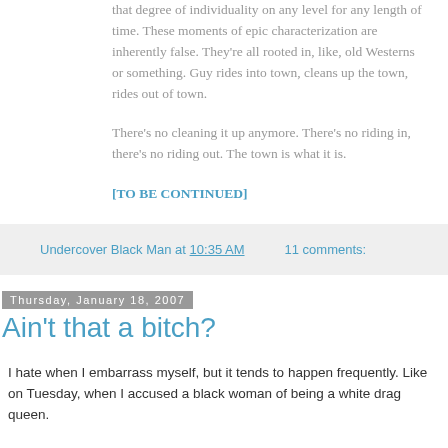that degree of individuality on any level for any length of time. These moments of epic characterization are inherently false. They're all rooted in, like, old Westerns or something. Guy rides into town, cleans up the town, rides out of town.
There's no cleaning it up anymore. There's no riding in, there's no riding out. The town is what it is.
[TO BE CONTINUED]
Undercover Black Man at 10:35 AM    11 comments:
Thursday, January 18, 2007
Ain't that a bitch?
I hate when I embarrass myself, but it tends to happen frequently. Like on Tuesday, when I accused a black woman of being a white drag queen.